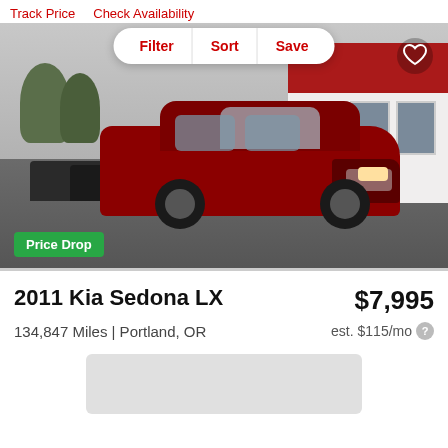Track Price   Check Availability
Filter | Sort | Save
[Figure (photo): Red 2011 Kia Sedona LX minivan parked in a used car dealership lot. The vehicle faces left, with a grey sky and red-and-white dealership building in the background. A 'Price Drop' green badge appears in the lower left corner of the photo. A heart/save icon appears in the upper right.]
2011 Kia Sedona LX
$7,995
134,847 Miles | Portland, OR
est. $115/mo